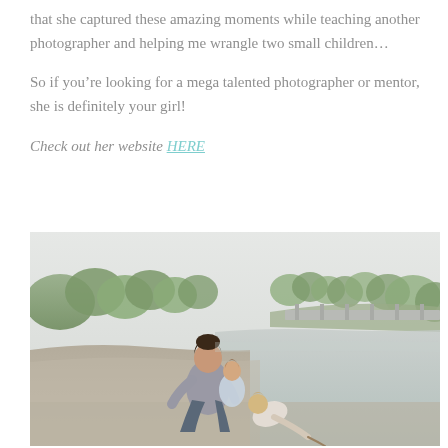that she captured these amazing moments while teaching another photographer and helping me wrangle two small children…
So if you're looking for a mega talented photographer or mentor, she is definitely your girl!
Check out her website HERE
[Figure (photo): A woman crouching on a sandy riverbank with two small children. Trees and a bridge are visible in the background. The scene is outdoors near water.]